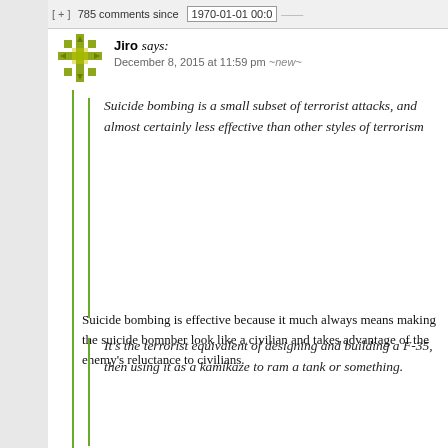[ + ] 785 comments since   1970-01-01 00:0
Jiro says:
December 8, 2015 at 11:59 pm ~new~
Suicide bombing is a small subset of terrorist attacks, and almost certainly less effective than other styles of terrorism
Suicide bombing is effective because it much always means making the suicide bomnber look like a civilian and takes advantage of the enemy's reluctance to civilians.
It's the terrorist equivalent of designing and building a F-35, then using it as a kamikaze to ram a tank or something.